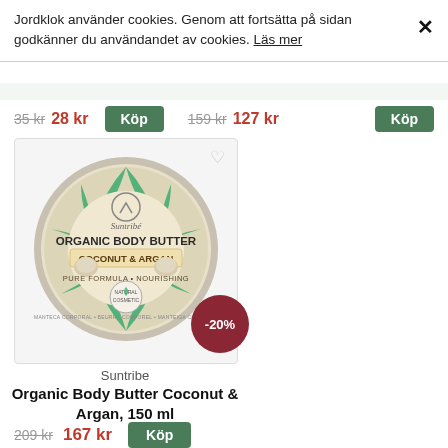Jordklok använder cookies. Genom att fortsätta på sidan godkänner du användandet av cookies. Läs mer
35 kr  28 kr  Köp    159 kr  127 kr  Köp
[Figure (photo): Suntribe Organic Body Butter Coconut & Argan tin product image with -20% discount badge]
Suntribe
Organic Body Butter Coconut & Argan, 150 ml
209 kr  167 kr  Köp